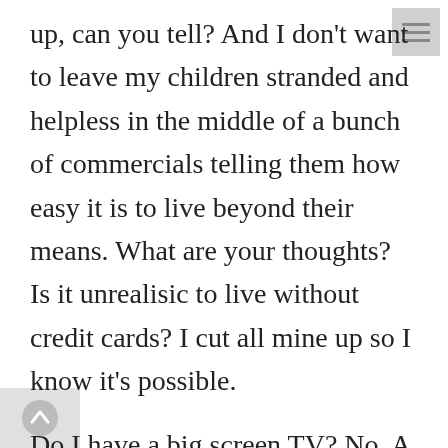up, can you tell? And I don't want to leave my children stranded and helpless in the middle of a bunch of commercials telling them how easy it is to live beyond their means. What are your thoughts? Is it unrealisic to live without credit cards? I cut all mine up so I know it's possible.
Do I have a big screen TV? No. A bunch of fancy furniture? No. But I do have college savings plans for my kids and just about everything else I want and need for daily living. And I sleep at night because I don't have to worry about whether there's some